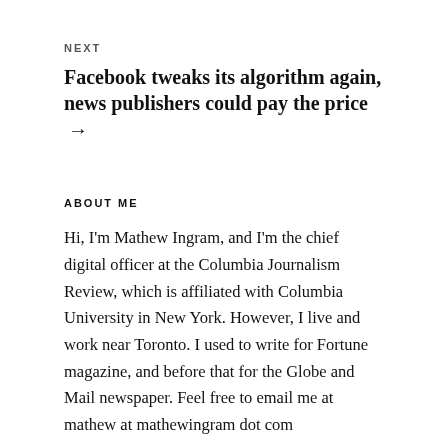NEXT
Facebook tweaks its algorithm again, news publishers could pay the price →
ABOUT ME
Hi, I'm Mathew Ingram, and I'm the chief digital officer at the Columbia Journalism Review, which is affiliated with Columbia University in New York. However, I live and work near Toronto. I used to write for Fortune magazine, and before that for the Globe and Mail newspaper. Feel free to email me at mathew at mathewingram dot com
ARCHIVES